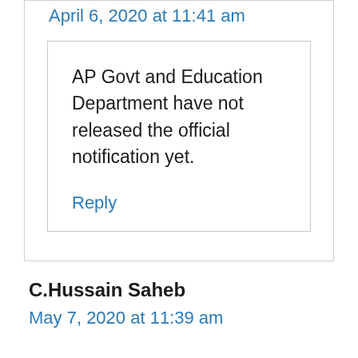April 6, 2020 at 11:41 am
AP Govt and Education Department have not released the official notification yet.
Reply
C.Hussain Saheb
May 7, 2020 at 11:39 am